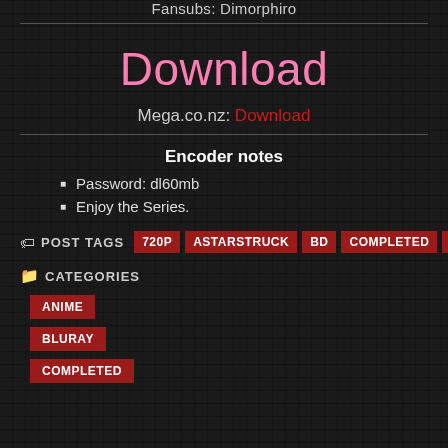Fansubs: Dimorphiro
Download
Mega.co.nz: Download
Encoder notes
Password: dl60mb
Enjoy the Series.
POST TAGS  720P  ASTARSTRUCK  BD  COMPLETED  X264
CATEGORIES
ANIME
BLURAY
COMPLETED